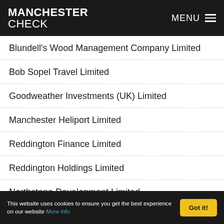MANCHESTER CHECK — MENU
Blundell's Wood Management Company Limited
Bob Sopel Travel Limited
Goodweather Investments (UK) Limited
Manchester Heliport Limited
Reddington Finance Limited
Reddington Holdings Limited
Northstone Development Limited
This website uses cookies to ensure you get the best experience on our website More info  Got it!